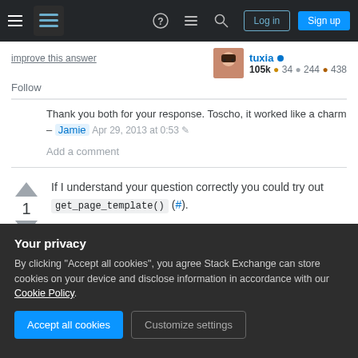[Figure (screenshot): Stack Exchange navigation bar with hamburger menu, logo, icons, Log in and Sign up buttons]
improve this answer
tuxia ● 105k ● 34 ● 244 ● 438
Follow
Thank you both for your response. Toscho, it worked like a charm – Jamie Apr 29, 2013 at 0:53
Add a comment
If I understand your question correctly you could try out get_page_template() (#).
Here is an example, that prints out all the pages and
Your privacy
By clicking "Accept all cookies", you agree Stack Exchange can store cookies on your device and disclose information in accordance with our Cookie Policy.
Accept all cookies
Customize settings
$page_query = new WP_Query( $args );